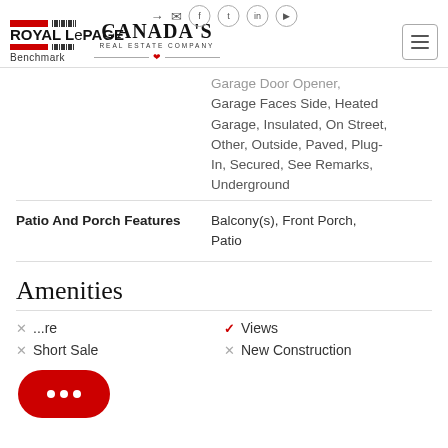Royal LePage Benchmark | Canada's Real Estate Company
Garage Door Opener, Garage Faces Side, Heated Garage, Insulated, On Street, Other, Outside, Paved, Plug-In, Secured, See Remarks, Underground
Patio And Porch Features: Balcony(s), Front Porch, Patio
Amenities
Views
Short Sale
New Construction